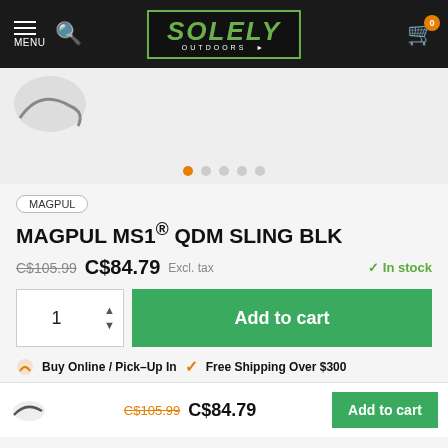MENU | SOLELY OUTDOORS | Cart: 0
[Figure (screenshot): Product image area showing partially visible sling product with carousel dots navigation (5 dots, first active/orange)]
MAGPUL
MAGPUL MS1® QDM SLING BLK
C$105.99  C$84.79  Excl. tax  ✓ In stock
1  Add to cart
Buy Online / Pick-Up In  ✓  Free Shipping Over $300
C$105.99  C$84.79  Add to cart